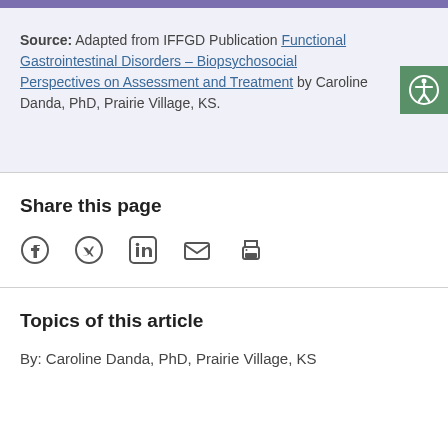Source: Adapted from IFFGD Publication Functional Gastrointestinal Disorders – Biopsychosocial Perspectives on Assessment and Treatment by Caroline Danda, PhD, Prairie Village, KS.
Share this page
[Figure (infographic): Social share icons: Facebook, Twitter, LinkedIn, Email, Print]
Topics of this article
By: Caroline Danda, PhD, Prairie Village, KS